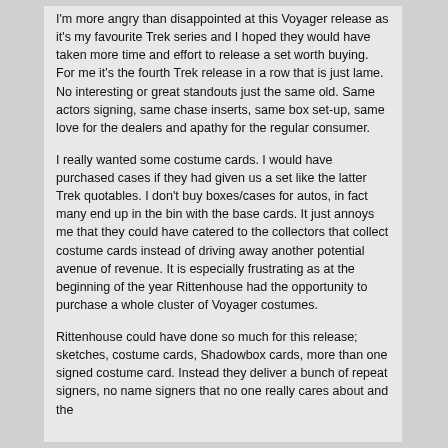I'm more angry than disappointed at this Voyager release as it's my favourite Trek series and I hoped they would have taken more time and effort to release a set worth buying. For me it's the fourth Trek release in a row that is just lame. No interesting or great standouts just the same old. Same actors signing, same chase inserts, same box set-up, same love for the dealers and apathy for the regular consumer.
I really wanted some costume cards. I would have purchased cases if they had given us a set like the latter Trek quotables. I don't buy boxes/cases for autos, in fact many end up in the bin with the base cards. It just annoys me that they could have catered to the collectors that collect costume cards instead of driving away another potential avenue of revenue. It is especially frustrating as at the beginning of the year Rittenhouse had the opportunity to purchase a whole cluster of Voyager costumes.
Rittenhouse could have done so much for this release; sketches, costume cards, Shadowbox cards, more than one signed costume card. Instead they deliver a bunch of repeat signers, no name signers that no one really cares about and the